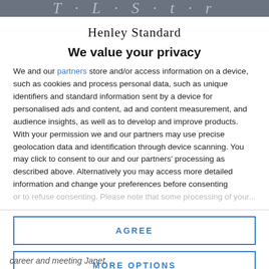The Henley Standard
Henley Standard
We value your privacy
We and our partners store and/or access information on a device, such as cookies and process personal data, such as unique identifiers and standard information sent by a device for personalised ads and content, ad and content measurement, and audience insights, as well as to develop and improve products. With your permission we and our partners may use precise geolocation data and identification through device scanning. You may click to consent to our and our partners' processing as described above. Alternatively you may access more detailed information and change your preferences before consenting or to refuse consenting. Please note that some processing of your...
AGREE
MORE OPTIONS
career and meeting Janet.